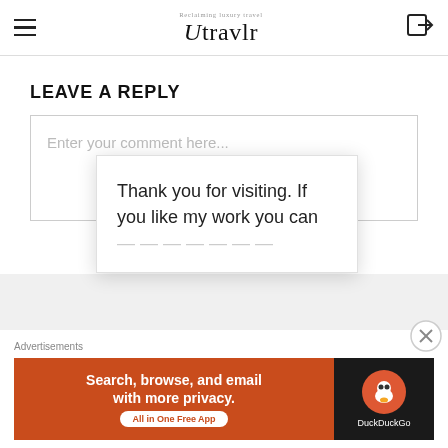Utravlr — Reclaiming luxury travel
LEAVE A REPLY
Enter your comment here...
GRA[B]
[MA]GAZINE
Thank you for visiting. If you like my work you can...
Advertisements
Search, browse, and email with more privacy. All in One Free App
DuckDuckGo